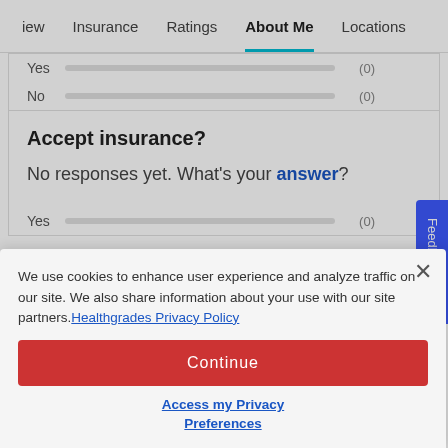iew  Insurance  Ratings  About Me  Locations
Yes (0)
No (0)
Accept insurance?
No responses yet. What's your answer?
Yes (0)
We use cookies to enhance user experience and analyze traffic on our site. We also share information about your use with our site partners. Healthgrades Privacy Policy
Continue
Access my Privacy Preferences